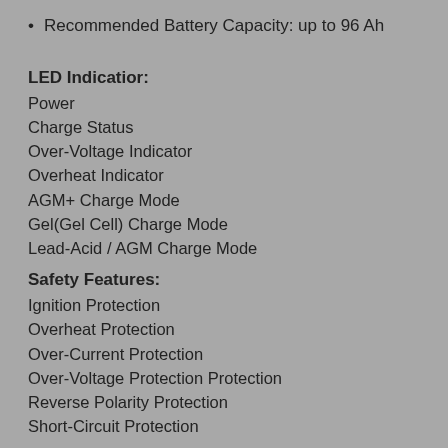Recommended Battery Capacity: up to 96 Ah
LED Indicatior:
Power
Charge Status
Over-Voltage Indicator
Overheat Indicator
AGM+ Charge Mode
Gel(Gel Cell) Charge Mode
Lead-Acid / AGM Charge Mode
Safety Features:
Ignition Protection
Overheat Protection
Over-Current Protection
Over-Voltage Protection Protection
Reverse Polarity Protection
Short-Circuit Protection
Compliance
FCC Class A
IP65 (Splash Proof)